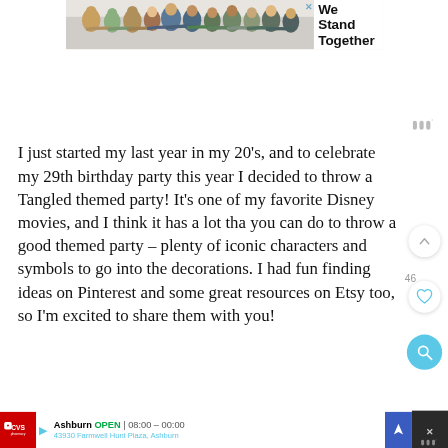[Figure (screenshot): Top advertisement banner showing group of people with backs to camera with text 'We Stand Together' and a close X button]
[Figure (screenshot): Weather icon (three vertical bars with degree symbol) in top right area]
I just started my last year in my 20’s, and to celebrate my 29th birthday party this year I decided to throw a Tangled themed party!  It’s one of my favorite Disney movies, and I think it has a lot tha you can do to throw a good themed party – plenty of iconic characters and symbols to go into the decorations.  I had fun finding ideas on Pinterest and some great resources on Etsy too, so I’m excited to share them with you!
[Figure (screenshot): UI overlay buttons: up chevron button, like count '46', heart button, and teal search button on right side]
[Figure (screenshot): Bottom advertisement bar for CVS Pharmacy in Ashburn, showing OPEN 08:00-00:00 and address 43930 Farmwell Hunt Plaza, Ashburn, with navigation and close buttons]